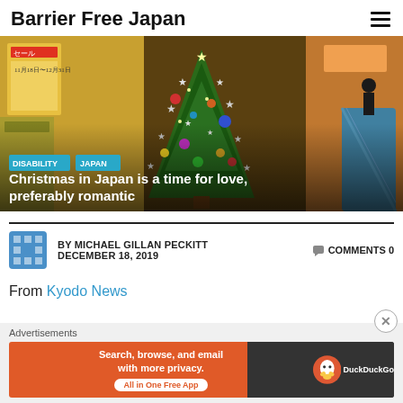Barrier Free Japan
[Figure (photo): A decorated Christmas tree with stars and colourful ornaments inside a Japanese shopping area, with shop signage in Japanese and an escalator visible in the background.]
DISABILITY
JAPAN
Christmas in Japan is a time for love, preferably romantic
BY MICHAEL GILLAN PECKITT   COMMENTS 0
DECEMBER 18, 2019
From Kyodo News
[Figure (screenshot): DuckDuckGo advertisement banner: 'Search, browse, and email with more privacy. All in One Free App']